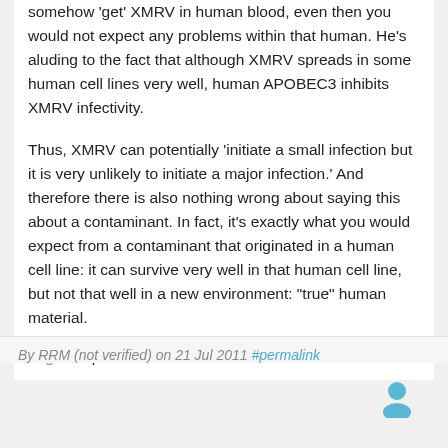somehow 'get' XMRV in human blood, even then you would not expect any problems within that human. He's aluding to the fact that although XMRV spreads in some human cell lines very well, human APOBEC3 inhibits XMRV infectivity.
Thus, XMRV can potentially 'initiate a small infection but it is very unlikely to initiate a major infection.' And therefore there is also nothing wrong about saying this about a contaminant. In fact, it's exactly what you would expect from a contaminant that originated in a human cell line: it can survive very well in that human cell line, but not that well in a new environment: "true" human material.
Log in to post comments
By RRM (not verified) on 21 Jul 2011 #permalink